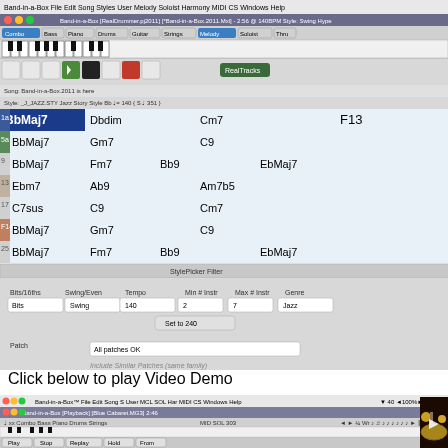[Figure (screenshot): Band-in-a-Box software screenshot showing the main application window with chord chart (BbMaj7, Dbdim, Cm7, F13, etc.), StylePicker filter panel, mixer/RealTracks selection dialogs, and various toolbar controls on Mac OS X]
Click below to play Video Demo
[Figure (screenshot): Second Band-in-a-Box screenshot showing playback window with 'Blue Cabaret' song loaded, alongside a video frame showing percussion instruments (cymbals, maracas, drums) with a play button overlay]